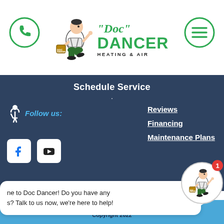[Figure (logo): Doc Dancer Heating & Air logo with mascot character, phone icon circle on left, hamburger menu icon circle on right]
Schedule Service
·
Reviews
Financing
Maintenance Plans
[Figure (illustration): Wheelchair accessibility icon]
Follow us:
[Figure (illustration): Facebook and YouTube social media icon boxes]
ne to Doc Dancer! Do you have any s? Talk to us now, we're here to help!
[Figure (illustration): Doc Dancer mascot avatar in circle with red badge showing number 1]
Powered by Valve+Meter Performance Ma...
Copyright 2022